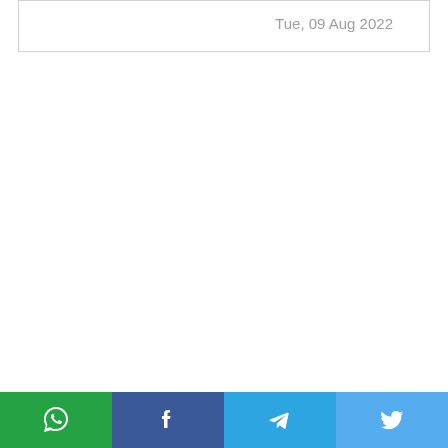Tue, 09 Aug 2022
[Figure (other): Social media share bar with WhatsApp, Facebook, Telegram, and Twitter buttons]